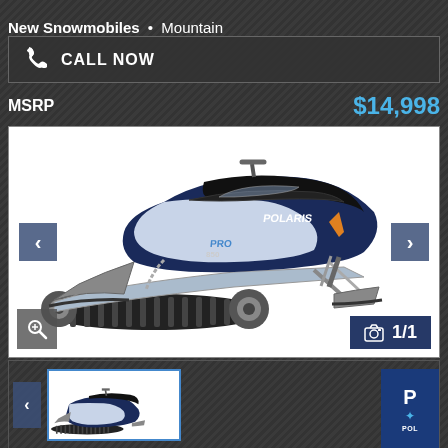New Snowmobiles • Mountain
CALL NOW
MSRP $14,998
[Figure (photo): Polaris PRO RMK 850 mountain snowmobile in white and blue with long track, viewed from the side. Navigation arrows on left and right. Photo count badge showing 1/1.]
[Figure (photo): Thumbnail of the same Polaris snowmobile, smaller version shown in the thumbnail strip at the bottom.]
[Figure (logo): Polaris brand badge in dark blue with 'P' and 'POLARIS' text and star icon.]